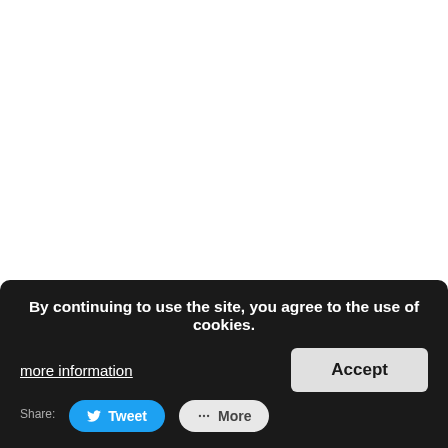[Figure (other): Twitter Follow button with bird icon and text 'Follow @BarelyAdventist' in blue rounded pill shape]
(Visited 212 times, 1 visits today)
By continuing to use the site, you agree to the use of cookies.
more information
Accept